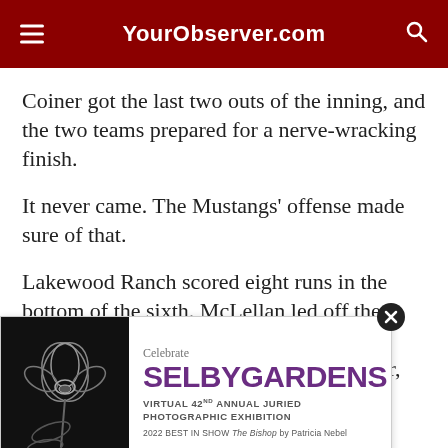YourObserver.com
Coiner got the last two outs of the inning, and the two teams prepared for a nerve-wracking finish.
It never came. The Mustangs' offense made sure of that.
Lakewood Ranch scored eight runs in the bottom of the sixth. McLellan led off the inning with a triple — and then ended the game with another triple eight batters later, one that scored the game's final th... base hits, in... r Taylo...
[Figure (illustration): Advertisement for Selby Gardens Virtual 42nd Annual Juried Photographic Exhibition, 2022 Best in Show The Bishop by Patricia Nebel. Shows a black and white orchid photo on the left and purple/grey text on the right.]